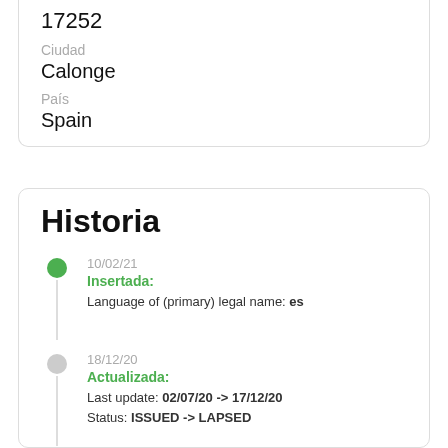17252
Ciudad
Calonge
País
Spain
Historia
10/02/21 Insertada: Language of (primary) legal name: es
18/12/20 Actualizada: Last update: 02/07/20 -> 17/12/20 Status: ISSUED -> LAPSED
03/07/20 Actualizada: Last update: 27/11/19 -> 02/07/20